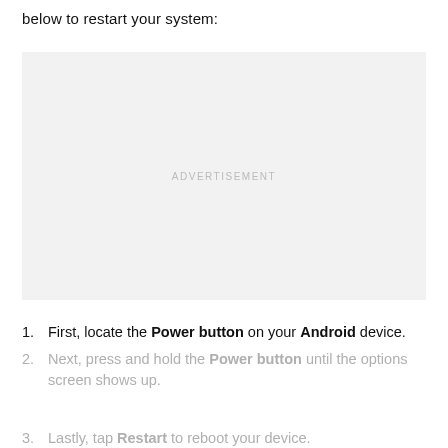below to restart your system:
[Figure (other): Advertisement placeholder box with light gray background and centered text 'ADVERTISEMENT']
First, locate the Power button on your Android device.
Next, press and hold the Power button until the options screen shows up.
Lastly, tap Restart to reboot your device.